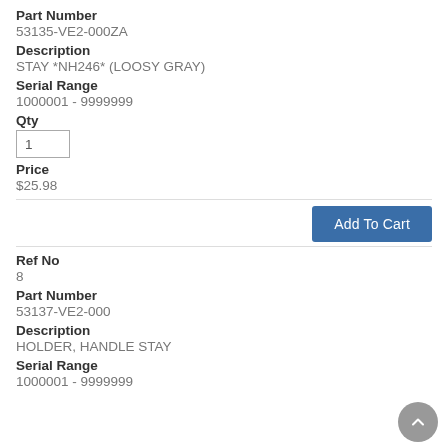Part Number
53135-VE2-000ZA
Description
STAY *NH246* (LOOSY GRAY)
Serial Range
1000001 - 9999999
Qty
1
Price
$25.98
Add To Cart
Ref No
8
Part Number
53137-VE2-000
Description
HOLDER, HANDLE STAY
Serial Range
1000001 - 9999999